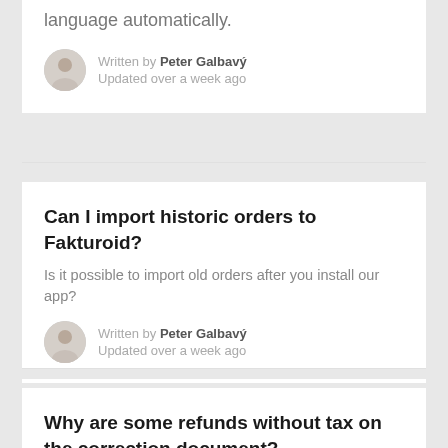language automatically.
Written by Peter Galbavý
Updated over a week ago
Can I import historic orders to Fakturoid?
Is it possible to import old orders after you install our app?
Written by Peter Galbavý
Updated over a week ago
Why are some refunds without tax on the correction document?
If you do the refund in Shopify the certain way, it won't have a tax data on the correction invoice.